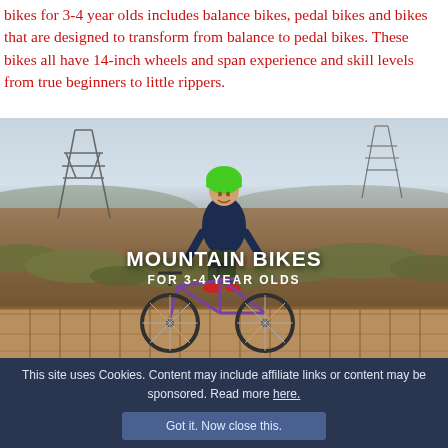bikes for 3-4 year olds includes balance bikes, pedal bikes and bikes that are designed to transform from balance to pedal bikes. These bikes all have 14-inch wheels and span experience and skill levels from true beginners to little rippers.
[Figure (photo): A young child wearing a green helmet stands beside a purple mountain bike on a wooden bridge/trail feature in a desert scrubland setting, with power transmission towers in the background. Overlay text reads MOUNTAIN BIKES FOR 3-4 YEAR OLDS.]
This site uses Cookies. Content may include affiliate links or content may be sponsored. Read more here.
Got it. Now close this.